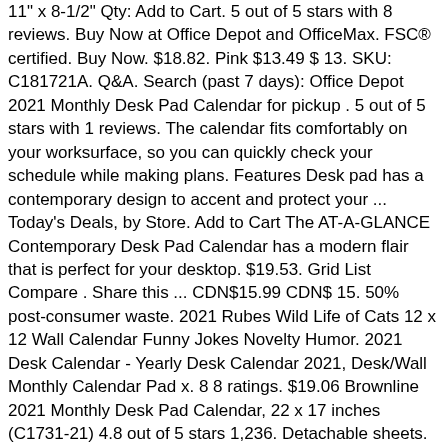11" x 8-1/2" Qty: Add to Cart. 5 out of 5 stars with 8 reviews. Buy Now at Office Depot and OfficeMax. FSC® certified. Buy Now. $18.82. Pink $13.49 $ 13. SKU: C181721A. Q&A. Search (past 7 days): Office Depot 2021 Monthly Desk Pad Calendar for pickup . 5 out of 5 stars with 1 reviews. The calendar fits comfortably on your worksurface, so you can quickly check your schedule while making plans. Features Desk pad has a contemporary design to accent and protect your ... Today's Deals, by Store. Add to Cart The AT-A-GLANCE Contemporary Desk Pad Calendar has a modern flair that is perfect for your desktop. $19.53. Grid List Compare . Share this ... CDN$15.99 CDN$ 15. 50% post-consumer waste. 2021 Rubes Wild Life of Cats 12 x 12 Wall Calendar Funny Jokes Novelty Humor. 2021 Desk Calendar - Yearly Desk Calendar 2021, Desk/Wall Monthly Calendar Pad x. 8 8 ratings. $19.06 Brownline 2021 Monthly Desk Pad Calendar, 22 x 17 inches (C1731-21) 4.8 out of 5 stars 1,236. Detachable sheets. 2021 Desktop Calendar 11" x 17" Classic Navy - Trends International. Office Depot Monthly Desk Pad Calendar, 22"x 17" , White, January To December 2021, SP24D00 Medium Size -